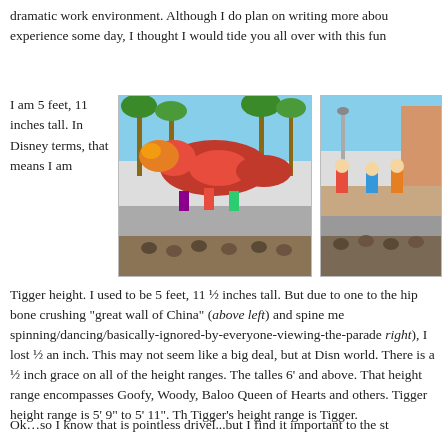dramatic work environment. Although I do plan on writing more about this experience some day, I thought I would tide you all over with this fun
I am 5 feet, 11 inches tall. In Disney terms, that means I am
[Figure (photo): Outdoor Disney parade scene with a large red/orange Chinese dragon float, performers in colorful costumes, palm trees in background, crowd watching]
[Figure (photo): Another outdoor Disney parade scene with performers in colorful costumes, crowd watching, warm-toned background]
Tigger height. I used to be 5 feet, 11 ½ inches tall. But due to one too many the hip bone crushing "great wall of China" (above left) and spine me spinning/dancing/basically-ignored-by-everyone-viewing-the-parade right), I lost ½ an inch. This may not seem like a big deal, but at Disn world. There is a ½ inch grace on all of the height ranges. The talles 6' and above. That height range encompasses Goofy, Woody, Baloo Queen of Hearts and others. Tigger height range is 5' 9" to 5' 11". Th Tigger's height range is Tigger.
Ok…so I know that is pointless drivel...but I find it important to the st